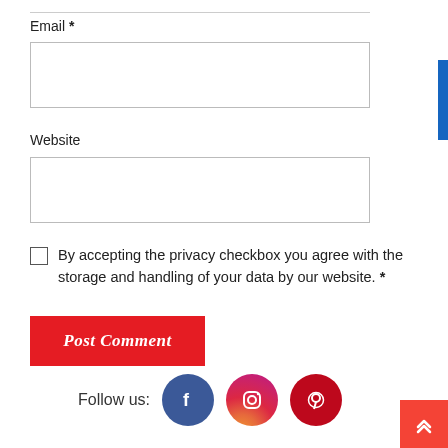Email *
Website
By accepting the privacy checkbox you agree with the storage and handling of your data by our website. *
Post Comment
Follow us: